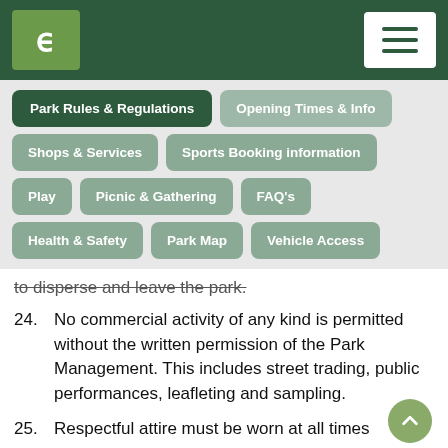ε [logo] — navigation menu
Park Rules & Regulations (active tab)
Opening Times & Info
Shops & Services
Sports Booking information
Play
Picnic & Gathering
FAQ's
Health & Safety
Park Map
Vehicle Access
to disperse and leave the park.
24. No commercial activity of any kind is permitted without the written permission of the Park Management. This includes street trading, public performances, leafleting and sampling.
25. Respectful attire must be worn at all times